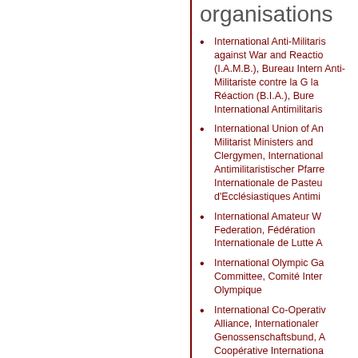organisations
International Anti-Militarist against War and Reaction (I.A.M.B.), Bureau International Anti-Militariste contre la Guerre et la Réaction (B.I.A.), Bureau International Antimilitaris
International Union of Anti-Militarist Ministers and Clergymen, Internationale Antimilitaristischer Pfarrer, Internationale de Pasteurs et d'Ecclésiastiques Antimil
International Amateur Wrestling Federation, Fédération Internationale de Lutte A
International Olympic Games Committee, Comité International Olympique
International Co-Operative Alliance, Internationaler Genossenschaftsbund, Alliance Coopérative Internationale